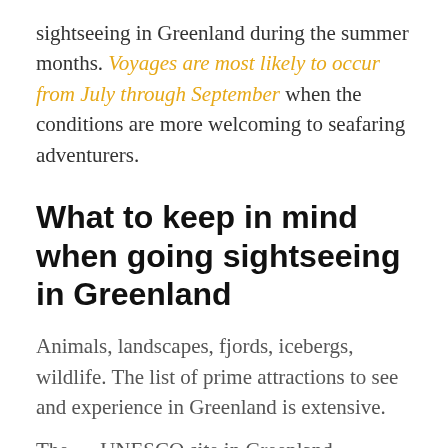sightseeing in Greenland during the summer months. Voyages are most likely to occur from July through September when the conditions are more welcoming to seafaring adventurers.
What to keep in mind when going sightseeing in Greenland
Animals, landscapes, fjords, icebergs, wildlife. The list of prime attractions to see and experience in Greenland is extensive.
The … UNESCO site in Greenland…